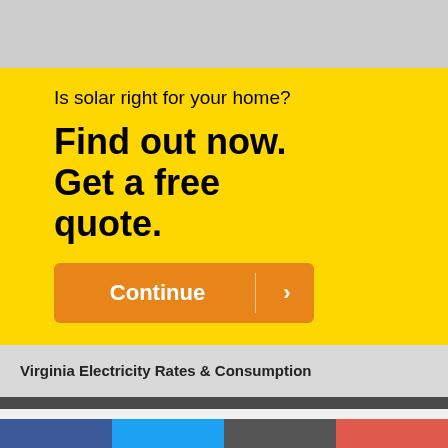[Figure (infographic): Gray background banner at top of page]
Is solar right for your home?
Find out now. Get a free quote.
[Figure (other): Orange Continue button with arrow]
Virginia Electricity Rates & Consumption
[Figure (other): Social share bar with Facebook, Twitter, Email, and plus buttons]